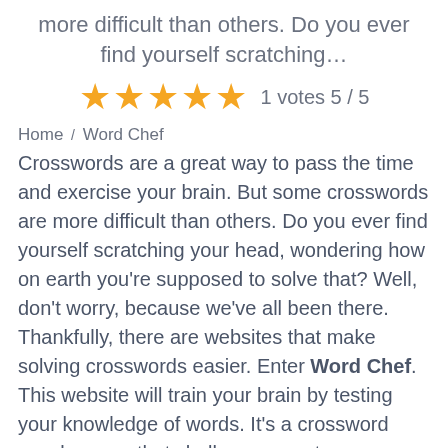more difficult than others. Do you ever find yourself scratching…
[Figure (other): Five gold star rating icons with text '1 votes 5 / 5']
Home / Word Chef
Crosswords are a great way to pass the time and exercise your brain. But some crosswords are more difficult than others. Do you ever find yourself scratching your head, wondering how on earth you're supposed to solve that? Well, don't worry, because we've all been there. Thankfully, there are websites that make solving crosswords easier. Enter Word Chef. This website will train your brain by testing your knowledge of words. It's a crossword puzzle game that challenges you to unscramble words by using clues from other